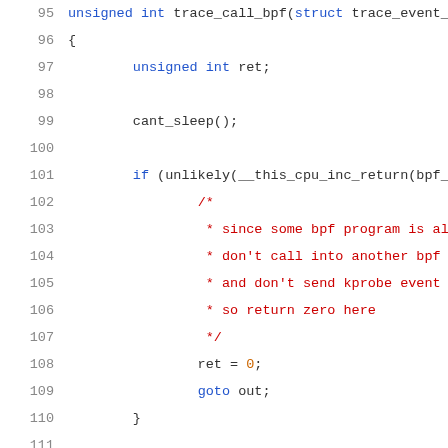[Figure (screenshot): Source code snippet (C language) showing lines 95-116 of a kernel BPF tracing function, with syntax highlighting. Keywords in blue, comments in red, numbers in orange, identifiers in dark gray.]